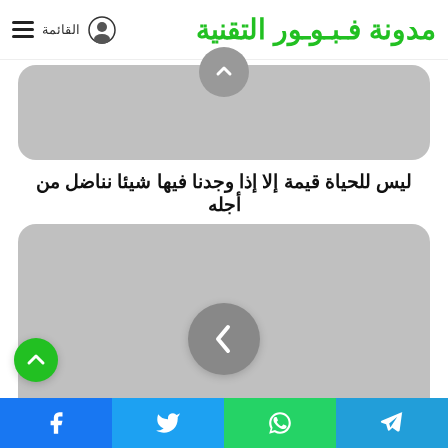مدونة فـبـوـور التقنية
[Figure (screenshot): Gray image card with navigation circle at top center]
ليس للحياة قيمة إلا إذا وجدنا فيها شيئا نناضل من أجله
[Figure (screenshot): Gray image card with left-arrow navigation circle in center]
للآنية الحياة على المالاحس أكالفء
Telegram | WhatsApp | Twitter | Facebook